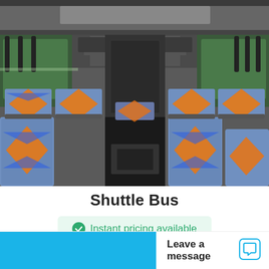[Figure (photo): Interior view of a shuttle bus showing rows of colorful patterned seats (blue, orange, red design) with black grab handles and a center aisle, viewed from the rear of the bus looking toward the front]
Shuttle Bus
Instant pricing available
Leave a message